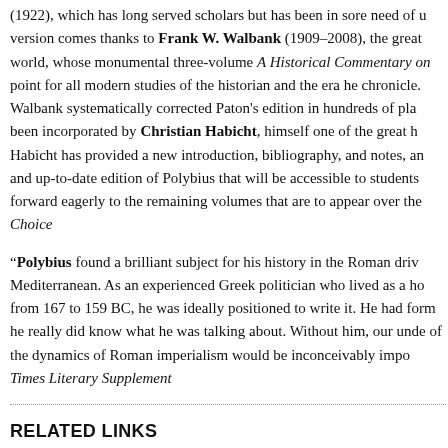(1922), which has long served scholars but has been in sore need of u version comes thanks to Frank W. Walbank (1909–2008), the great world, whose monumental three-volume A Historical Commentary on point for all modern studies of the historian and the era he chronicle. Walbank systematically corrected Paton's edition in hundreds of pla been incorporated by Christian Habicht, himself one of the great h Habicht has provided a new introduction, bibliography, and notes, an and up-to-date edition of Polybius that will be accessible to students forward eagerly to the remaining volumes that are to appear over the Choice
"Polybius found a brilliant subject for his history in the Roman driv Mediterranean. As an experienced Greek politician who lived as a ho from 167 to 159 BC, he was ideally positioned to write it. He had form he really did know what he was talking about. Without him, our unde of the dynamics of Roman imperialism would be inconceivably impo Times Literary Supplement
RELATED LINKS